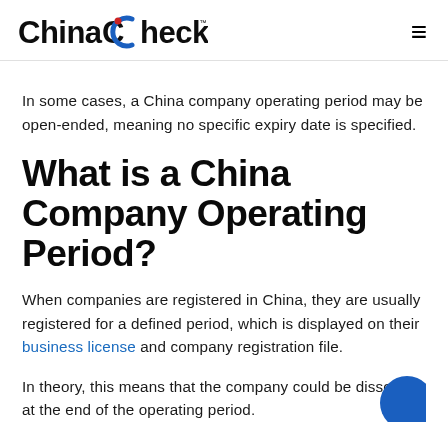China Checkup
In some cases, a China company operating period may be open-ended, meaning no specific expiry date is specified.
What is a China Company Operating Period?
When companies are registered in China, they are usually registered for a defined period, which is displayed on their business license and company registration file.
In theory, this means that the company could be dissolved at the end of the operating period.